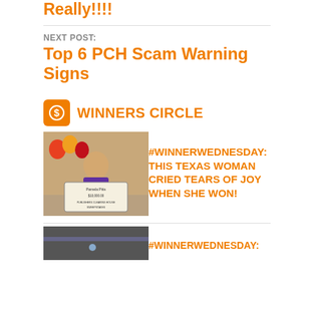Really!!!!
NEXT POST:
Top 6 PCH Scam Warning Signs
WINNERS CIRCLE
[Figure (photo): Woman named Pamela Pitts holding a Publishers Clearing House check for $10,000.00, surrounded by balloons]
#WINNERWEDNESDAY: THIS TEXAS WOMAN CRIED TEARS OF JOY WHEN SHE WON!
[Figure (photo): Partial bottom winner photo, cut off]
#WINNERWEDNESDAY: